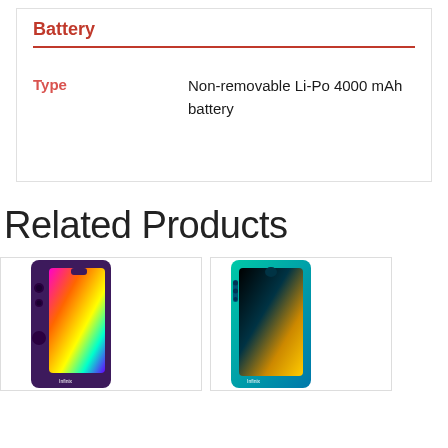Battery
|  |  |
| --- | --- |
| Type | Non-removable Li-Po 4000 mAh battery |
Related Products
[Figure (photo): Two Infinix smartphones shown side by side as related products. Left phone has a purple/colorful gradient back and display. Right phone has a teal/green color with multiple rear cameras.]